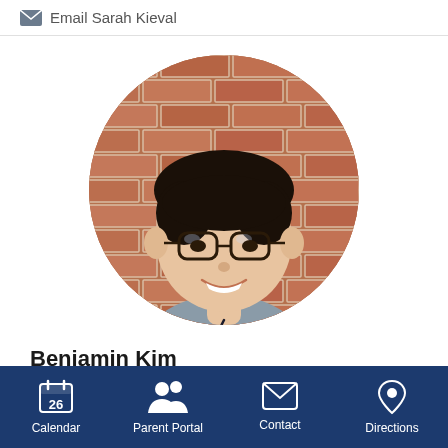Email Sarah Kieval
[Figure (photo): Circular profile photo of Benjamin Kim, a young man wearing glasses and a grey shirt, smiling, with a brick wall background.]
Benjamin Kim
Early Childhood Associate Teacher
Calendar | Parent Portal | Contact | Directions